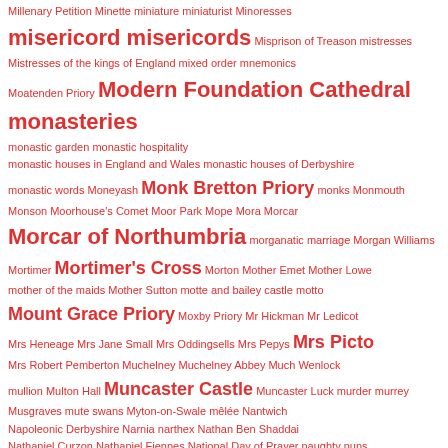Millenary Petition Minette miniature miniaturist Minoresses
misericord misericords Misprison of Treason mistresses
Mistresses of the kings of England mixed order mnemonics
Moatenden Priory Modern Foundation Cathedral monasteries
monastic garden monastic hospitality
monastic houses in England and Wales monastic houses of Derbyshire
monastic words Moneyash Monk Bretton Priory monks Monmouth
Monson Moorhouse's Comet Moor Park Mope Mora Morcar
Morcar of Northumbria morganatic marriage Morgan Williams
Mortimer Mortimer's Cross Morton Mother Emet Mother Lowe
mother of the maids Mother Sutton motte and bailey castle motto
Mount Grace Priory Moxby Priory Mr Hickman Mr Ledicot
Mrs Heneage Mrs Jane Small Mrs Oddingsells Mrs Pepys Mrs Picto
Mrs Robert Pemberton Muchelney Muchelney Abbey Much Wenlock
mullion Multon Hall Muncaster Castle Muncaster Luck murder murrey
Musgraves mute swans Myton-on-Swale mêlée Nantwich
Napoleonic Derbyshire Narnia narthex Nathan Ben Shaddai
Nathaniel Curzon Nathaniel Fiennes National Day of Prayer naughty nuns
Navarre Naworth Naworth Castle Nazareth Newton